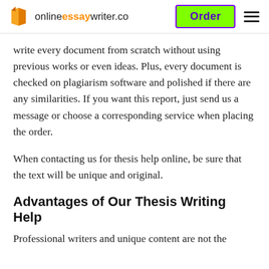onlineessaywriter.co | Order
write every document from scratch without using previous works or even ideas. Plus, every document is checked on plagiarism software and polished if there are any similarities. If you want this report, just send us a message or choose a corresponding service when placing the order.
When contacting us for thesis help online, be sure that the text will be unique and original.
Advantages of Our Thesis Writing Help
Professional writers and unique content are not the